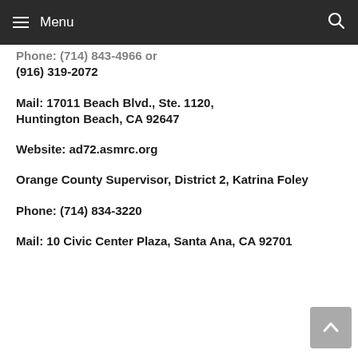Menu
Phone: (714) 843-4966 or (916) 319-2072
Mail: 17011 Beach Blvd., Ste. 1120, Huntington Beach, CA 92647
Website: ad72.asmrc.org
Orange County Supervisor, District 2, Katrina Foley
Phone: (714) 834-3220
Mail: 10 Civic Center Plaza, Santa Ana, CA 92701